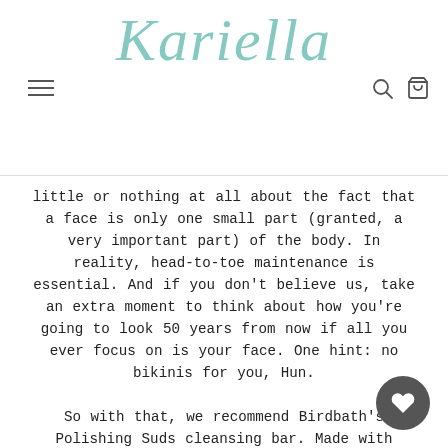Kariella
little or nothing at all about the fact that a face is only one small part (granted, a very important part) of the body. In reality, head-to-toe maintenance is essential. And if you don't believe us, take an extra moment to think about how you're going to look 50 years from now if all you ever focus on is your face. One hint: no bikinis for you, Hun.

So with that, we recommend Birdbath's Polishing Suds cleansing bar. Made with natural loofah and free of harmful chemicals, go ahead and scrub-a-dub-dub entire body with this. Get rid of all that